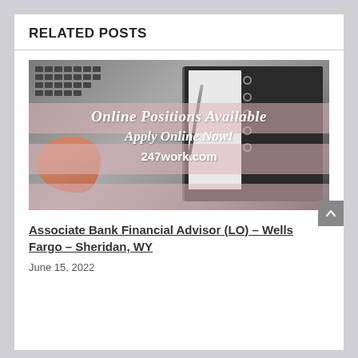RELATED POSTS
[Figure (photo): A photo of a hand with red nails typing on a laptop keyboard next to a dark notebook planner with a pen, overlaid with text: 'Online Positions Available', 'Apply Online Now!', '247work.com']
Associate Bank Financial Advisor (LO) – Wells Fargo – Sheridan, WY
June 15, 2022